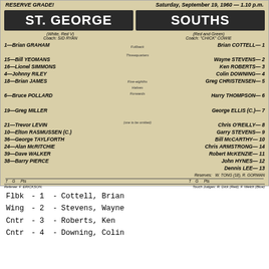RESERVE GRADE? Saturday, September 19, 1960 — 1.10 p.m.
ST. GEORGE | SOUTHS
(White, Red V) Coach: SID RYAN | (Red and Green) Coach: "CHICK" COWIE
| St. George # | Position | Souths # |
| --- | --- | --- |
| 1—Brian GRAHAM | Fullback | Brian COTTELL—1 |
| 15—Bill YEOMANS | Threequarters | Wayne STEVENS—2 |
| 16—Lionel SIMMONS |  | Ken ROBERTS—3 |
| 4—Johnny RILEY |  | Colin DOWNING—4 |
| 18—Brian JAMES |  | Greg CHRISTENSEN—5 |
| 6—Bruce POLLARD | Five-eighths | Harry THOMPSON—6 |
| 19—Greg MILLER | Halves | George ELLIS (C.)—7 |
| 21—Trevor LEVIN | Forwards | Chris O'REILLY—8 |
| 10—Elton RASMUSSEN (C.) |  | Garry STEVENS—9 |
| 36—George TAYLFORTH |  | Bill McCARTHY—10 |
| 24—Alan McRITCHIE |  | Chris ARMSTRONG—14 |
| 39—Dave WALKER |  | Robert McKENZIE—11 |
| 38—Barry PIERCE | (one to be omitted) | John HYNES—12 |
|  |  | Dennis LEE—13 |
Reserves: W. TONG (18), R. GORMAN
Referee: F. ERICKSON.   Touch Judges: R. Dick (Red), F. Welch (Blue)
Flbk -  1 - Cottell, Brian
Wing -  2 - Stevens, Wayne
Cntr -  3 - Roberts, Ken
Cntr -  4 - Downing, Colin